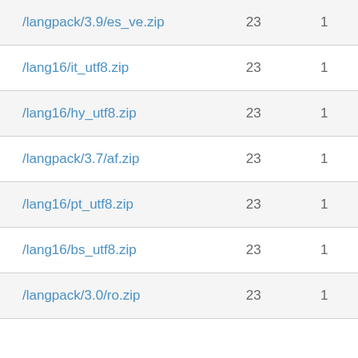| /langpack/3.9/es_ve.zip | 23 | 1 |
| /lang16/it_utf8.zip | 23 | 1 |
| /lang16/hy_utf8.zip | 23 | 1 |
| /langpack/3.7/af.zip | 23 | 1 |
| /lang16/pt_utf8.zip | 23 | 1 |
| /lang16/bs_utf8.zip | 23 | 1 |
| /langpack/3.0/ro.zip | 23 | 1 |